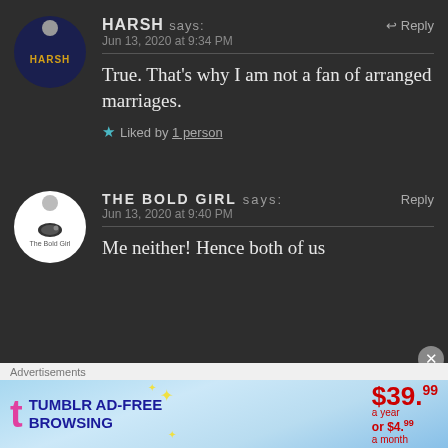HARSH says: Jun 13, 2020 at 9:34 PM — Reply
True. That's why I am not a fan of arranged marriages.
Liked by 1 person
THE BOLD GIRL says: Reply Jun 13, 2020 at 9:40 PM
Me neither! Hence both of us
[Figure (screenshot): Tumblr AD-FREE BROWSING advertisement banner: $39.99 a year or $4.99 a month]